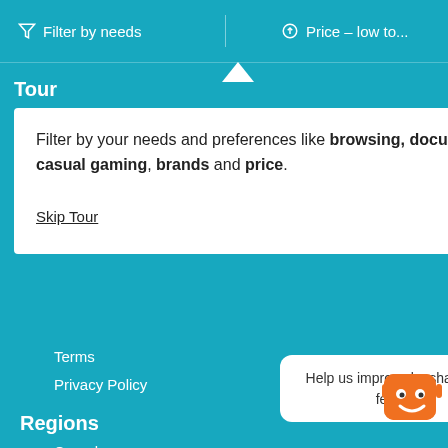Filter by needs | Price - low to...
Tour
Filter by your needs and preferences like browsing, documents, email, casual gaming, brands and price.
Skip Tour | Next
Terms
Privacy Policy
Regions
Canada
Germany
United Kingdom
United States
© Choosist Limited
Help us improve by sharing your feedback.